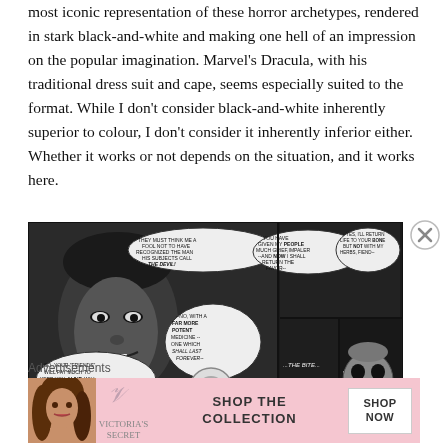most iconic representation of these horror archetypes, rendered in stark black-and-white and making one hell of an impression on the popular imagination. Marvel's Dracula, with his traditional dress suit and cape, seems especially suited to the format. While I don't consider black-and-white inherently superior to colour, I don't consider it inherently inferior either. Whether it works or not depends on the situation, and it works here.
[Figure (illustration): Black-and-white comic panel showing Dracula with speech bubbles: 'SO, YOUR FRIENDS WILL PAY MUCH TO KEEP YOU ALIVE, WILL THEY--DRACULA?', 'THEY MUST THINK ME A FOOL NOT TO HAVE RECOGNIZED THE MAN HIS SUBJECTS CALL THE DEVIL!', 'YOU HAVE GIVEN MY PEOPLE MUCH GRIEF, IMPALER --AND NOW I SHALL RETURN THE FAVOR--', '--YES, I'LL RETURN LIFE TO YOUR BONES BUT NOT WITH MY HERBS, FIEND--', '--NO, WITH A FAR MORE POTENT MEDICINE -- ONE WHICH SHALL LAST FOREVER--', '...THE BITE...', '... OF THE VAMPIRE!!!']
Advertisements
[Figure (photo): Victoria's Secret advertisement banner with woman model, VS logo, 'SHOP THE COLLECTION' text, and 'SHOP NOW' button]